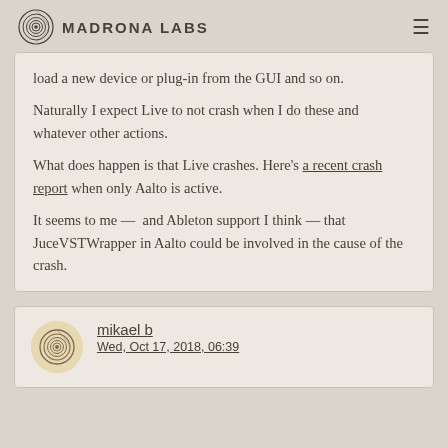Madrona Labs
load a new device or plug-in from the GUI and so on.
Naturally I expect Live to not crash when I do these and whatever other actions.
What does happen is that Live crashes. Here's a recent crash report when only Aalto is active.
It seems to me —  and Ableton support I think — that JuceVSTWrapper in Aalto could be involved in the cause of the crash.
mikael b
Wed, Oct 17, 2018, 06:39